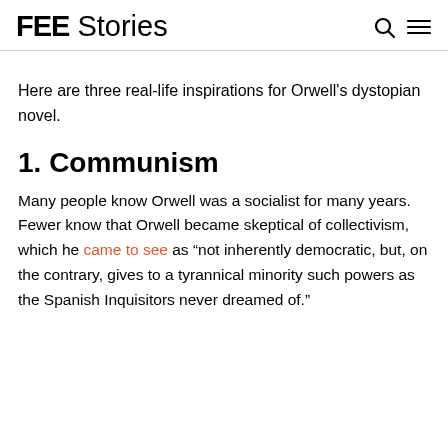FEE Stories
Here are three real-life inspirations for Orwell's dystopian novel.
1. Communism
Many people know Orwell was a socialist for many years. Fewer know that Orwell became skeptical of collectivism, which he came to see as “not inherently democratic, but, on the contrary, gives to a tyrannical minority such powers as the Spanish Inquisitors never dreamed of.”